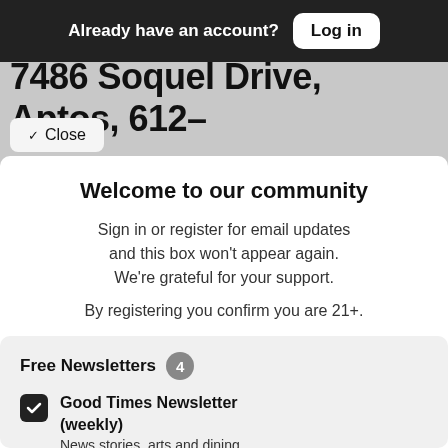Already have an account? Log in
7486 Soquel Drive, Aptos, 612–
✓ Close
Welcome to our community
Sign in or register for email updates and this box won't appear again. We're grateful for your support.
By registering you confirm you are 21+.
Free Newsletters 4
Good Times Newsletter (weekly)
News stories, arts and dining